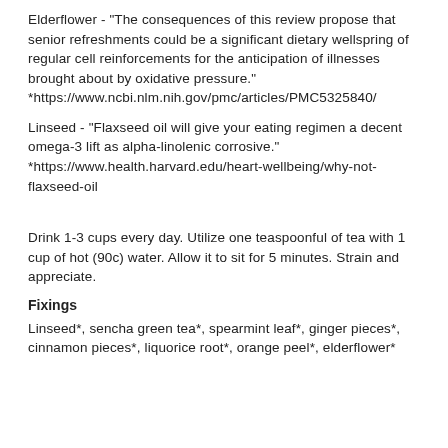Elderflower - "The consequences of this review propose that senior refreshments could be a significant dietary wellspring of regular cell reinforcements for the anticipation of illnesses brought about by oxidative pressure." *https://www.ncbi.nlm.nih.gov/pmc/articles/PMC5325840/
Linseed - "Flaxseed oil will give your eating regimen a decent omega-3 lift as alpha-linolenic corrosive." *https://www.health.harvard.edu/heart-wellbeing/why-not-flaxseed-oil
Drink 1-3 cups every day. Utilize one teaspoonful of tea with 1 cup of hot (90c) water. Allow it to sit for 5 minutes. Strain and appreciate.
Fixings
Linseed*, sencha green tea*, spearmint leaf*, ginger pieces*, cinnamon pieces*, liquorice root*, orange peel*, elderflower*